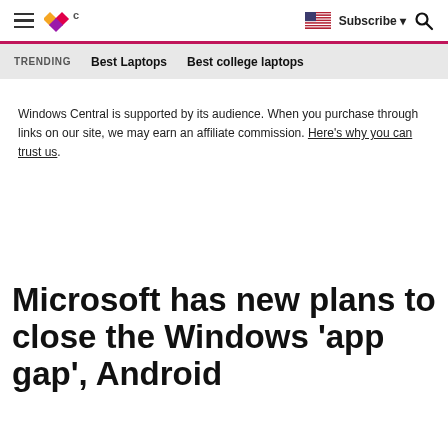Windows Central | Subscribe | Search
TRENDING   Best Laptops   Best college laptops
Windows Central is supported by its audience. When you purchase through links on our site, we may earn an affiliate commission. Here's why you can trust us.
Microsoft has new plans to close the Windows 'app gap', Android